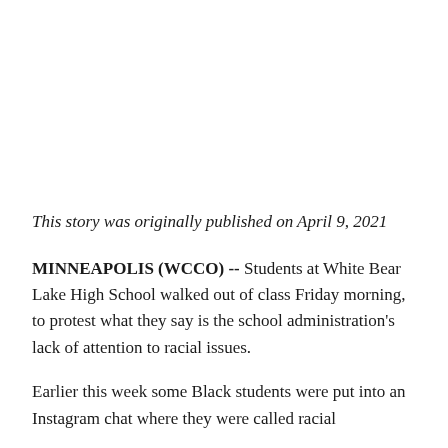This story was originally published on April 9, 2021
MINNEAPOLIS (WCCO) -- Students at White Bear Lake High School walked out of class Friday morning, to protest what they say is the school administration's lack of attention to racial issues.
Earlier this week some Black students were put into an Instagram chat where they were called racial